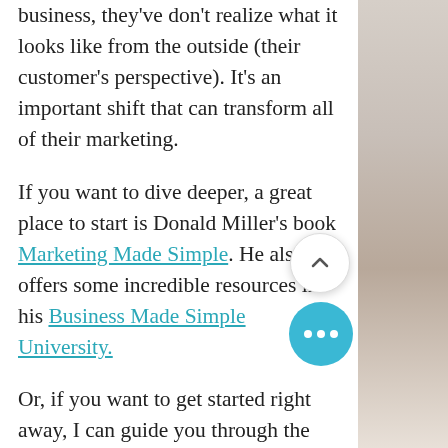business, they've don't realize what it looks like from the outside (their customer's perspective). It's an important shift that can transform all of their marketing.
If you want to dive deeper, a great place to start is Donald Miller's book Marketing Made Simple. He also offers some incredible resources in his Business Made Simple University.
Or, if you want to get started right away, I can guide you through the entire BrandScript process in about two weeks.
Either way, it's time you gain clarity
[Figure (photo): Partial photo of a glass with a latte or cappuccino on a light surface, cropped to right edge of page]